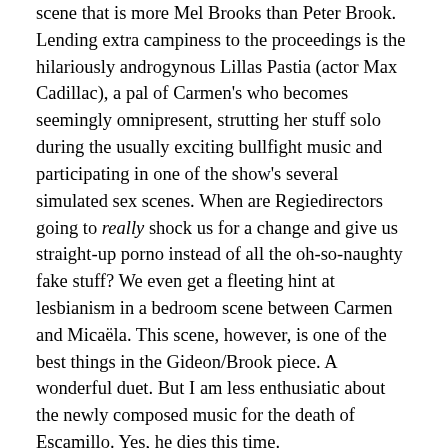scene that is more Mel Brooks than Peter Brook. Lending extra campiness to the proceedings is the hilariously androgynous Lillas Pastia (actor Max Cadillac), a pal of Carmen's who becomes seemingly omnipresent, strutting her stuff solo during the usually exciting bullfight music and participating in one of the show's several simulated sex scenes. When are Regiedirectors going to really shock us for a change and give us straight-up porno instead of all the oh-so-naughty fake stuff? We even get a fleeting hint at lesbianism in a bedroom scene between Carmen and Micaëla. This scene, however, is one of the best things in the Gideon/Brook piece. A wonderful duet. But I am less enthusiatic about the newly composed music for the death of Escamillo. Yes, he dies this time.
The projections, sets and costumes are a distinctive part of this production. Yuki Izumihara, billed as the scenic and video designer, gives the show a memorable quasi-constructivist look, one of shifting, colorful geometric patterns. The costumes of Adam Alonso are quirky, inventive and sometimes quite handsome. He is also given a credit on the videos. John A. Garofalo, the lighting designer, might like to pay more